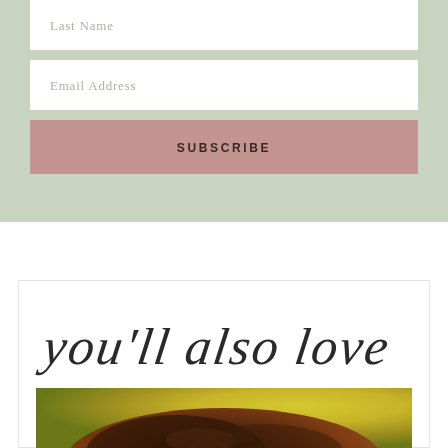Last Name
Email Address
SUBSCRIBE
you'll also love
[Figure (photo): Close-up photo of a baked good, appears to be a dark glazed pastry or bread roll with a blurred yellow-green background]